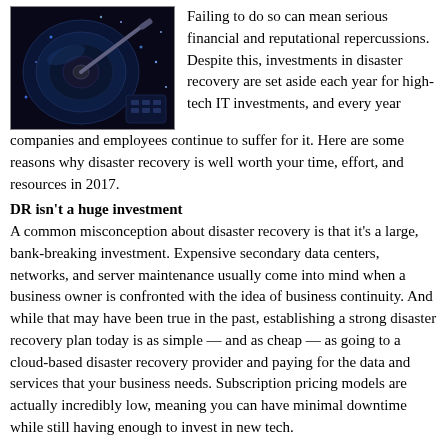[Figure (photo): Close-up photo of hard drive platters and components with blue-toned lighting]
Failing to do so can mean serious financial and reputational repercussions. Despite this, investments in disaster recovery are set aside each year for high-tech IT investments, and every year companies and employees continue to suffer for it. Here are some reasons why disaster recovery is well worth your time, effort, and resources in 2017.
DR isn't a huge investment
A common misconception about disaster recovery is that it's a large, bank-breaking investment. Expensive secondary data centers, networks, and server maintenance usually come into mind when a business owner is confronted with the idea of business continuity. And while that may have been true in the past, establishing a strong disaster recovery plan today is as simple — and as cheap — as going to a cloud-based disaster recovery provider and paying for the data and services that your business needs. Subscription pricing models are actually incredibly low, meaning you can have minimal downtime while still having enough to invest in new tech.
Onsite backups just won't cut it
Although you might feel secure with a manual backup server down